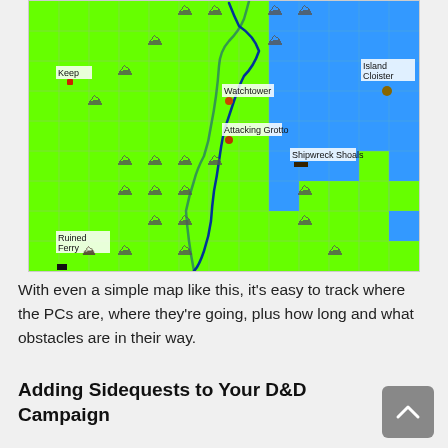[Figure (map): A grid-based tactical map with green land squares and blue water squares. Labels visible include 'Keep', 'Watchtower', 'Attacking Grotto', 'Shipwreck Shoals', 'Island Cloister', and 'Ruined Ferry'. A winding dark path traces a route across the green terrain. Various mountain/hill symbols are scattered across the map.]
With even a simple map like this, it's easy to track where the PCs are, where they're going, plus how long and what obstacles are in their way.
Adding Sidequests to Your D&D Campaign